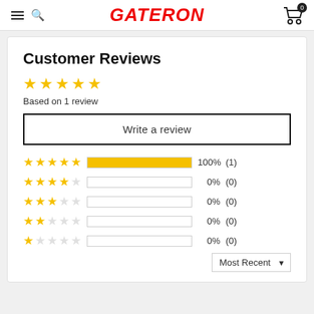GATERON
Customer Reviews
Based on 1 review
Write a review
[Figure (infographic): Star rating breakdown: 5 stars 100% (1), 4 stars 0% (0), 3 stars 0% (0), 2 stars 0% (0), 1 star 0% (0)]
Most Recent